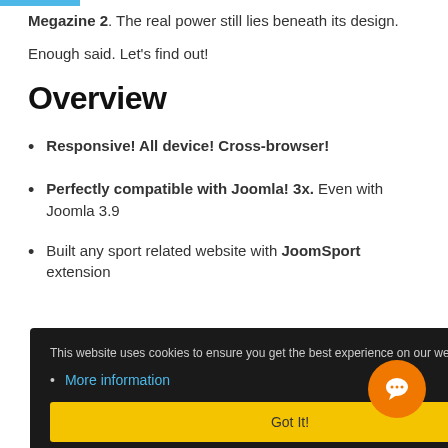Megazine 2. The real power still lies beneath its design.
Enough said. Let's find out!
Overview
Responsive! All device! Cross-browser!
Perfectly compatible with Joomla! 3x. Even with Joomla 3.9
Built any sport related website with JoomSport extension
This website uses cookies to ensure you get the best experience on our website.
More information
Got It!